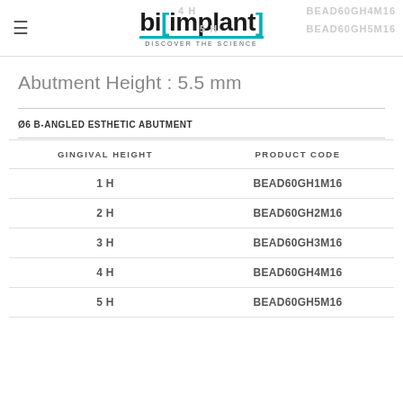[Figure (logo): bi[implant] logo with teal bracket and 'Discover The Science' tagline]
Abutment Height : 5.5 mm
Ø6 B-ANGLED ESTHETIC ABUTMENT
| GINGIVAL HEIGHT | PRODUCT CODE |
| --- | --- |
| 1 H | BEAD60GH1M16 |
| 2 H | BEAD60GH2M16 |
| 3 H | BEAD60GH3M16 |
| 4 H | BEAD60GH4M16 |
| 5 H | BEAD60GH5M16 |